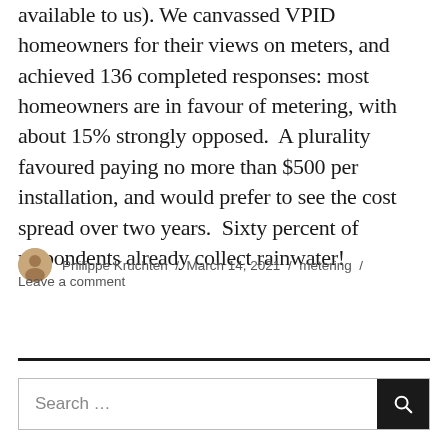available to us). We canvassed VPID homeowners for their views on meters, and achieved 136 completed responses: most homeowners are in favour of metering, with about 15% strongly opposed. A plurality favoured paying no more than $500 per installation, and would prefer to see the cost spread over two years. Sixty percent of respondents already collect rainwater!
Philippe Kruchten / March 14, 2021 / metering / Leave a comment